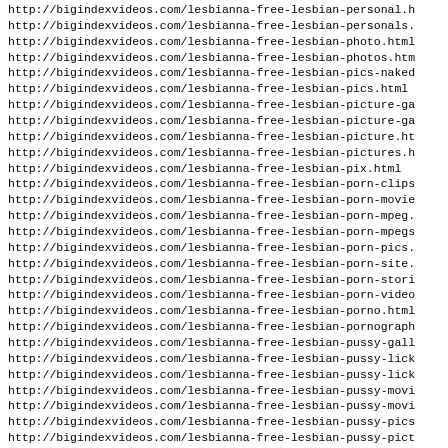http://bigindexvideos.com/lesbianna-free-lesbian-personal.h
http://bigindexvideos.com/lesbianna-free-lesbian-personals.
http://bigindexvideos.com/lesbianna-free-lesbian-photo.html
http://bigindexvideos.com/lesbianna-free-lesbian-photos.htm
http://bigindexvideos.com/lesbianna-free-lesbian-pics-naked
http://bigindexvideos.com/lesbianna-free-lesbian-pics.html
http://bigindexvideos.com/lesbianna-free-lesbian-picture-ga
http://bigindexvideos.com/lesbianna-free-lesbian-picture-ga
http://bigindexvideos.com/lesbianna-free-lesbian-picture.ht
http://bigindexvideos.com/lesbianna-free-lesbian-pictures.h
http://bigindexvideos.com/lesbianna-free-lesbian-pix.html
http://bigindexvideos.com/lesbianna-free-lesbian-porn-clips
http://bigindexvideos.com/lesbianna-free-lesbian-porn-movie
http://bigindexvideos.com/lesbianna-free-lesbian-porn-mpeg.
http://bigindexvideos.com/lesbianna-free-lesbian-porn-mpegs
http://bigindexvideos.com/lesbianna-free-lesbian-porn-pics.
http://bigindexvideos.com/lesbianna-free-lesbian-porn-site.
http://bigindexvideos.com/lesbianna-free-lesbian-porn-stori
http://bigindexvideos.com/lesbianna-free-lesbian-porn-video
http://bigindexvideos.com/lesbianna-free-lesbian-porno.html
http://bigindexvideos.com/lesbianna-free-lesbian-pornograph
http://bigindexvideos.com/lesbianna-free-lesbian-pussy-gall
http://bigindexvideos.com/lesbianna-free-lesbian-pussy-lick
http://bigindexvideos.com/lesbianna-free-lesbian-pussy-lick
http://bigindexvideos.com/lesbianna-free-lesbian-pussy-movi
http://bigindexvideos.com/lesbianna-free-lesbian-pussy-movi
http://bigindexvideos.com/lesbianna-free-lesbian-pussy-pics
http://bigindexvideos.com/lesbianna-free-lesbian-pussy-pict
http://bigindexvideos.com/lesbianna-free-lesbian-pussy-pict
http://bigindexvideos.com/lesbianna-free-lesbian-